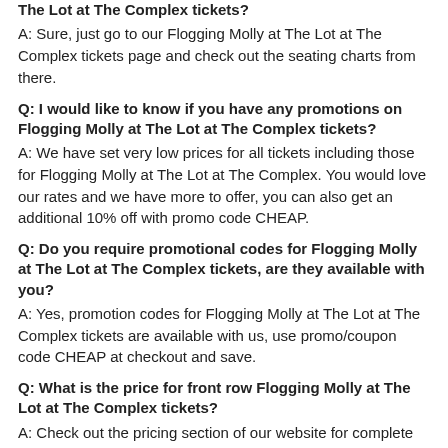The Lot at The Complex tickets?
A: Sure, just go to our Flogging Molly at The Lot at The Complex tickets page and check out the seating charts from there.
Q: I would like to know if you have any promotions on Flogging Molly at The Lot at The Complex tickets?
A: We have set very low prices for all tickets including those for Flogging Molly at The Lot at The Complex. You would love our rates and we have more to offer, you can also get an additional 10% off with promo code CHEAP.
Q: Do you require promotional codes for Flogging Molly at The Lot at The Complex tickets, are they available with you?
A: Yes, promotion codes for Flogging Molly at The Lot at The Complex tickets are available with us, use promo/coupon code CHEAP at checkout and save.
Q: What is the price for front row Flogging Molly at The Lot at The Complex tickets?
A: Check out the pricing section of our website for complete details about Flogging Molly at The Lot at The Complex ticket prices for the front rows.